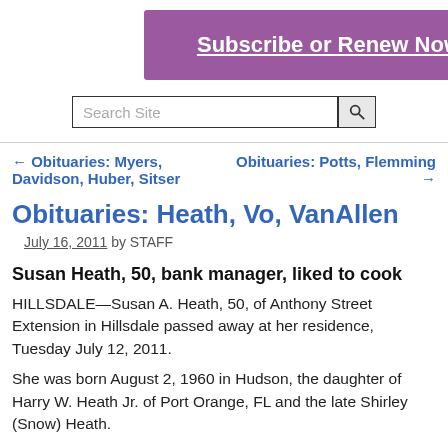[Figure (other): Purple subscribe or renew now banner button with white bold underlined text]
[Figure (other): Search site input box with search button icon]
← Obituaries: Myers, Davidson, Huber, Sitser
Obituaries: Potts, Flemming →
Obituaries: Heath, Vo, VanAllen
July 16, 2011 by STAFF
Susan Heath, 50, bank manager, liked to cook
HILLSDALE—Susan A. Heath, 50, of Anthony Street Extension in Hillsdale passed away at her residence, Tuesday July 12, 2011.
She was born August 2, 1960 in Hudson, the daughter of Harry W. Heath Jr. of Port Orange, FL and the late Shirley (Snow) Heath.